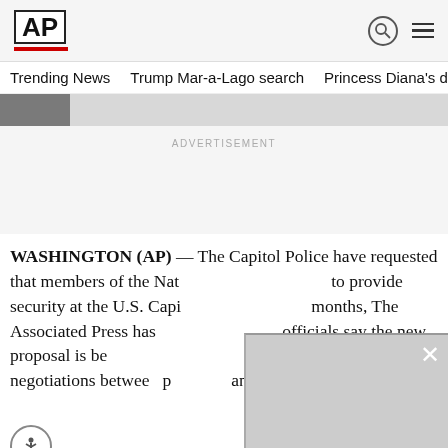AP
Trending News   Trump Mar-a-Lago search   Princess Diana's dea
ADVERTISEMENT
WASHINGTON (AP) — The Capitol Police have requested that members of the National Guard continue to provide security at the U.S. Capitol for the coming months, The Associated Press has learned. Defense officials say the new proposal is being reviewed by the Pentagon, and negotiations between congressional and congressional authorities